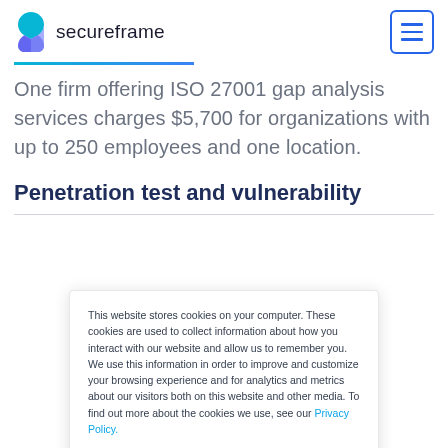secureframe
One firm offering ISO 27001 gap analysis services charges $5,700 for organizations with up to 250 employees and one location.
Penetration test and vulnerability
This website stores cookies on your computer. These cookies are used to collect information about how you interact with our website and allow us to remember you. We use this information in order to improve and customize your browsing experience and for analytics and metrics about our visitors both on this website and other media. To find out more about the cookies we use, see our Privacy Policy.
Accept